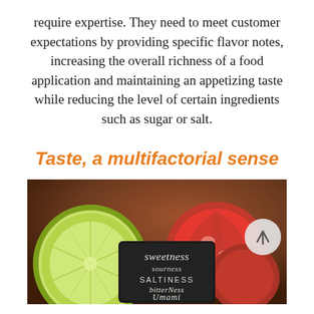require expertise. They need to meet customer expectations by providing specific flavor notes, increasing the overall richness of a food application and maintaining an appetizing taste while reducing the level of certain ingredients such as sugar or salt.
Taste, a multifactorial sense
[Figure (photo): Photo of sliced lime and tomatoes with a chalkboard sign listing taste categories: sweetness, sourness, SALTINESS, bitterNess, Umami]